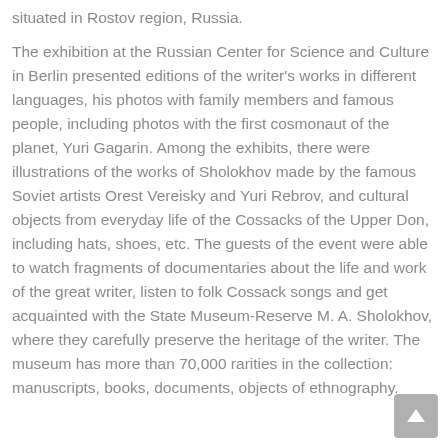situated in Rostov region, Russia.
The exhibition at the Russian Center for Science and Culture in Berlin presented editions of the writer's works in different languages, his photos with family members and famous people, including photos with the first cosmonaut of the planet, Yuri Gagarin. Among the exhibits, there were illustrations of the works of Sholokhov made by the famous Soviet artists Orest Vereisky and Yuri Rebrov, and cultural objects from everyday life of the Cossacks of the Upper Don, including hats, shoes, etc. The guests of the event were able to watch fragments of documentaries about the life and work of the great writer, listen to folk Cossack songs and get acquainted with the State Museum-Reserve M. A. Sholokhov, where they carefully preserve the heritage of the writer. The museum has more than 70,000 rarities in the collection: manuscripts, books, documents, objects of ethnography.